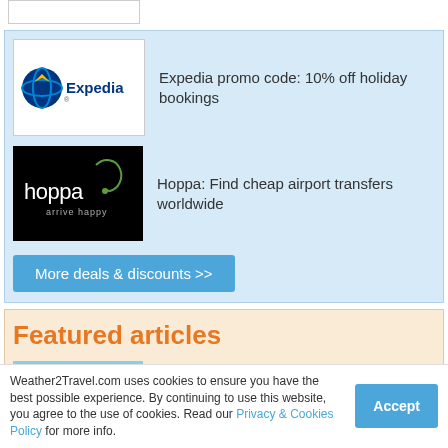[Figure (logo): Partially visible white box at top (cut off)]
[Figure (logo): Expedia logo - blue and yellow globe icon with Expedia text]
Expedia promo code: 10% off holiday bookings
[Figure (logo): Hoppa logo - black background with hoppa text and arrive happy tagline]
Hoppa: Find cheap airport transfers worldwide
More deals & discounts >>
Featured articles
[Figure (photo): Beach scene with person in white dress by turquoise water]
Top 10 winter sun holiday destinations under £500
Weather2Travel.com uses cookies to ensure you have the best possible experience. By continuing to use this website, you agree to the use of cookies. Read our Privacy & Cookies Policy for more info.